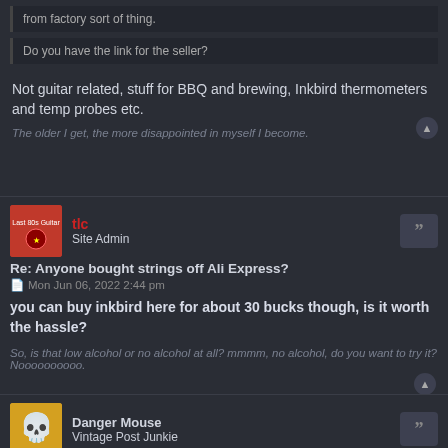from factory sort of thing.
Do you have the link for the seller?
Not guitar related, stuff for BBQ and brewing, Inkbird thermometers and temp probes etc.
The older I get, the more disappointed in myself I become.
tlc
Site Admin
Re: Anyone bought strings off Ali Express?
Mon Jun 06, 2022 2:44 pm
you can buy inkbird here for about 30 bucks though, is it worth the hassle?
So, is that low alcohol or no alcohol at all? mmmm, no alcohol, do you want to try it? Noooooooooo.
Danger Mouse
Vintage Post Junkie